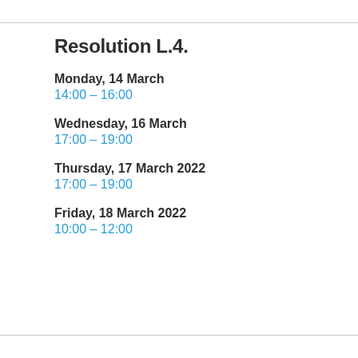Resolution L.4.
Monday, 14 March
14:00 – 16:00
Wednesday, 16 March
17:00 – 19:00
Thursday, 17 March 2022
17:00 – 19:00
Friday, 18 March 2022
10:00 – 12:00